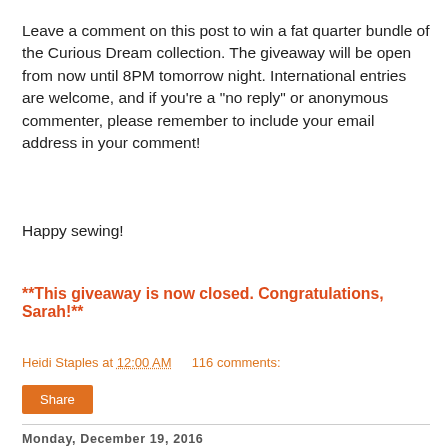Leave a comment on this post to win a fat quarter bundle of the Curious Dream collection. The giveaway will be open from now until 8PM tomorrow night. International entries are welcome, and if you're a "no reply" or anonymous commenter, please remember to include your email address in your comment!
Happy sewing!
**This giveaway is now closed. Congratulations, Sarah!**
Heidi Staples at 12:00 AM   116 comments:
Share
Monday, December 19, 2016